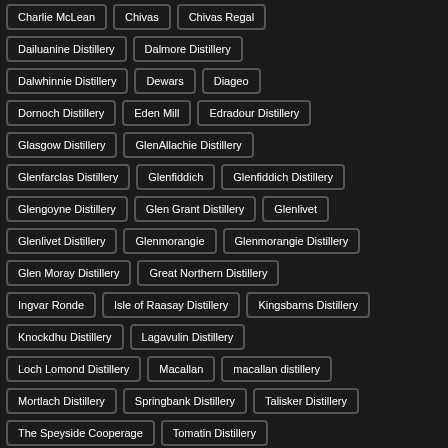Charlie McLean
Chivas
Chivas Regal
Dailuanine Distillery
Dalmore Distillery
Dalwhinnie Distillery
Dewars
Diageo
Dornoch Distillery
Eden Mill
Edradour Distillery
Glasgow Distillery
GlenAllachie Distillery
Glenfarclas Distillery
Glenfiddich
Glenfiddich Distillery
Glengoyne Distillery
Glen Grant Distillery
Glenlivet
Glenlivet Distillery
Glenmorangie
Glenmorangie Distillery
Glen Moray Distillery
Great Northern Distillery
Ingvar Ronde
Isle of Raasay Distillery
Kingsbarns Distillery
Knockdhu Distillery
Lagavulin Distillery
Loch Lomond Distillery
Macallan
macallan distillery
Mortlach Distillery
Springbank Distillery
Talisker Distillery
The Speyside Cooperage
Tomatin Distillery